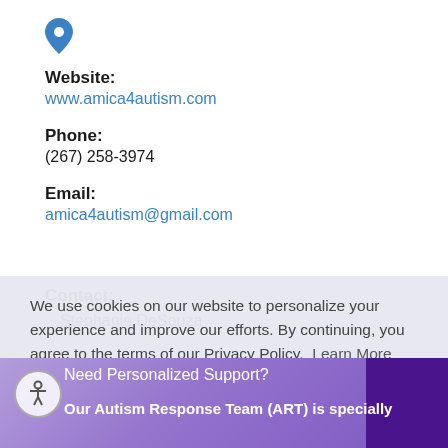[Figure (illustration): Blue location pin icon]
Website:
www.amica4autism.com
Phone:
(267) 258-3974
Email:
amica4autism@gmail.com
Contact:
Stephanie DeSouza
We use cookies on our website to personalize your experience and improve our efforts. By continuing, you agree to the terms of our Privacy Policy. Learn More
I Agree
Need Personalized Support?
Our Autism Response Team (ART) is specially